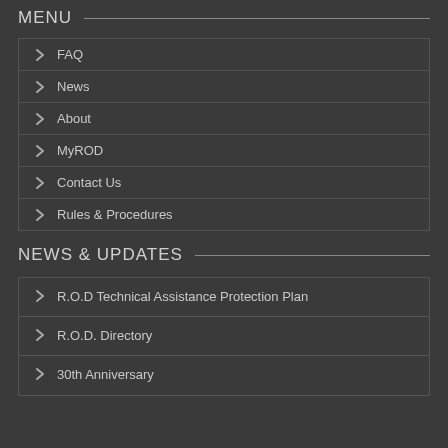MENU
FAQ
News
About
MyROD
Contact Us
Rules & Procedures
NEWS & UPDATES
R.O.D Technical Assistance Protection Plan
R.O.D. Directory
30th Anniversary